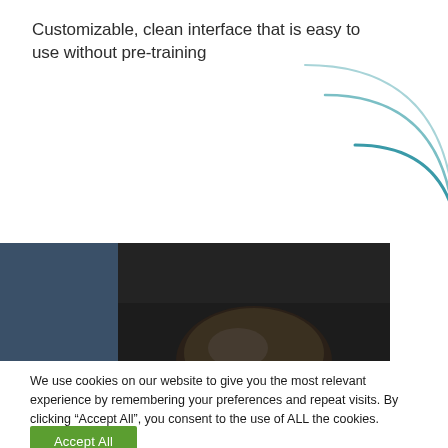Customizable, clean interface that is easy to use without pre-training
[Figure (illustration): Decorative circular arc lines in light blue/teal colors, partially visible in top-right area]
[Figure (photo): Partial photo of a man's head (top view) against a dark background, spanning the width of the page]
We use cookies on our website to give you the most relevant experience by remembering your preferences and repeat visits. By clicking “Accept All”, you consent to the use of ALL the cookies.
Accept All